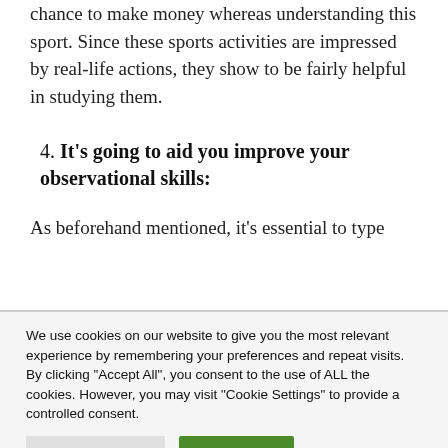chance to make money whereas understanding this sport. Since these sports activities are impressed by real-life actions, they show to be fairly helpful in studying them.
4. It's going to aid you improve your observational skills:
As beforehand mentioned, it's essential to type
We use cookies on our website to give you the most relevant experience by remembering your preferences and repeat visits. By clicking "Accept All", you consent to the use of ALL the cookies. However, you may visit "Cookie Settings" to provide a controlled consent.